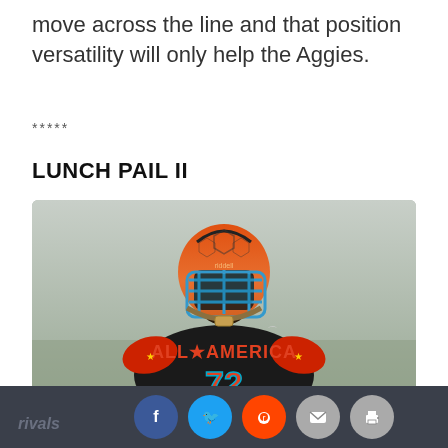move across the line and that position versatility will only help the Aggies.
*****
LUNCH PAIL II
[Figure (photo): Football player wearing an All-America jersey number 72 with a red/orange helmet and blue face mask, Under Armour uniform.]
rivals [social share buttons: Facebook, Twitter, Reddit, Email, Print]